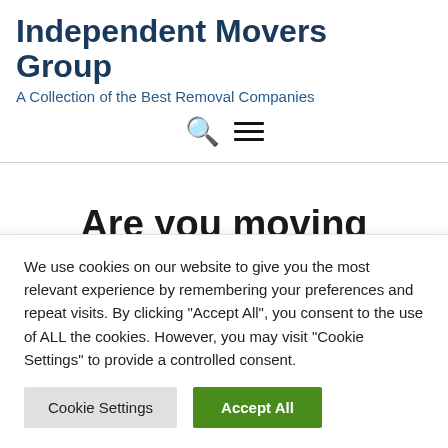Independent Movers Group
A Collection of the Best Removal Companies
Are you moving house from Wrecclesham to
We use cookies on our website to give you the most relevant experience by remembering your preferences and repeat visits. By clicking "Accept All", you consent to the use of ALL the cookies. However, you may visit "Cookie Settings" to provide a controlled consent.
Cookie Settings | Accept All